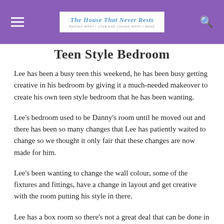The House That Never Rests — MAKING WHAT I LOVE AND LOVING WHAT I MAKE
Teen Style Bedroom
Lee has been a busy teen this weekend, he has been busy getting creative in his bedroom by giving it a much-needed makeover to create his own teen style bedroom that he has been wanting.
Lee's bedroom used to be Danny's room until he moved out and there has been so many changes that Lee has patiently waited to change so we thought it only fair that these changes are now made for him.
Lee's been wanting to change the wall colour, some of the fixtures and fittings, have a change in layout and get creative with the room putting his style in there.
Lee has a box room so there's not a great deal that can be done in there apart from try and create as much space as possible. Lee has a good few ideas up his sleeve. He wants to put a TV on the wall, move his bed to a better position in the room he also